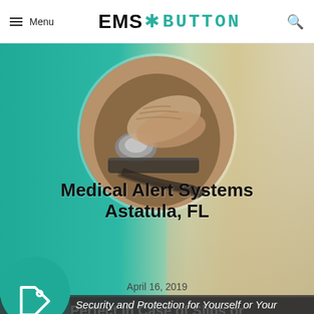≡ Menu  EMS ✱ BUTTON  🔍
Medical Alert Systems Astatula, FL
April 16, 2019
Perfect In Case of Slips or Falls!
Security and Protection for Yourself or Your
[Figure (photo): Elderly hands holding a medical alert device/button wristband, circular cropped photo on teal gradient background with blond hair visible on the right side]